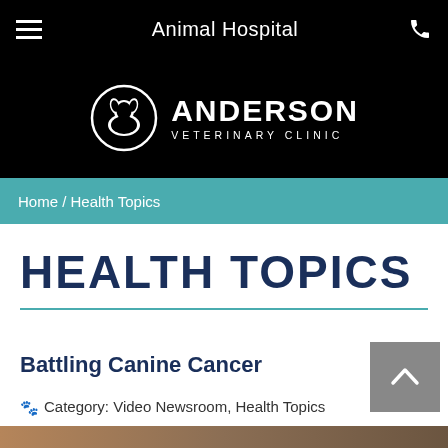Animal Hospital
[Figure (logo): Anderson Veterinary Clinic logo — circular icon with dog and cat silhouettes, white on black, next to text ANDERSON VETERINARY CLINIC]
Home / Health Topics
HEALTH TOPICS
Battling Canine Cancer
Category: Video Newsroom, Health Topics